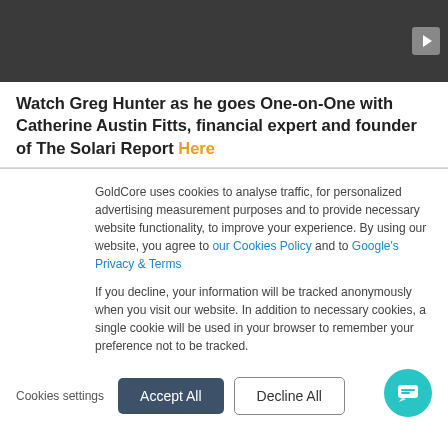[Figure (screenshot): Dark video player thumbnail area with a small grey play button icon in the upper right corner]
Watch Greg Hunter as he goes One-on-One with Catherine Austin Fitts, financial expert and founder of The Solari Report Here
GoldCore uses cookies to analyse traffic, for personalized advertising measurement purposes and to provide necessary website functionality, to improve your experience. By using our website, you agree to our Cookies Policy and to Google's Privacy & Terms
If you decline, your information will be tracked anonymously when you visit our website. In addition to necessary cookies, a single cookie will be used in your browser to remember your preference not to be tracked.
Cookies settings  Accept All  Decline All